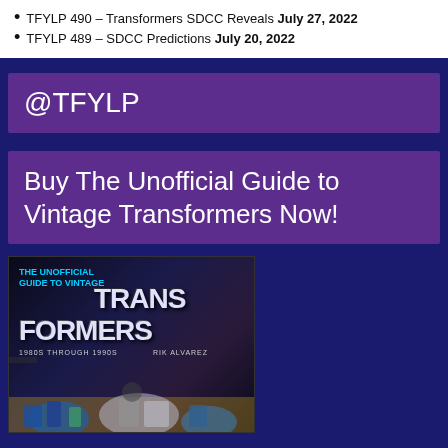TFYLP 490 – Transformers SDCC Reveals July 27, 2022
TFYLP 489 – SDCC Predictions July 20, 2022
@TFYLP
Buy The Unofficial Guide to Vintage Transformers Now!
[Figure (photo): Book cover of 'The Unofficial Guide to Vintage Transformers' by Rik Alvarez, showing Transformers robots on a dark space-like background with the title in large bold letters]